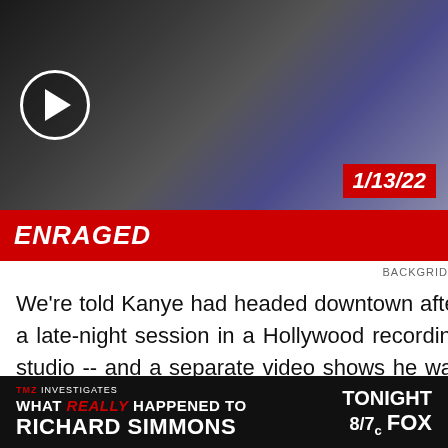[Figure (screenshot): Video thumbnail showing a dark scene with a person near a white car, with a play button on the left and a red date badge '1/13/22' on the bottom right]
ENRAGED
BACKGRID
We're told Kanye had headed downtown after a late-night session in a Hollywood recording studio -- and a separate video shows he was already pissed off when he left there around 2:30 AM.
[Figure (screenshot): TMZ Investigates advertisement banner: 'WHAT REALLY HAPPENED TO RICHARD SIMMONS TONIGHT 8/7c FOX']